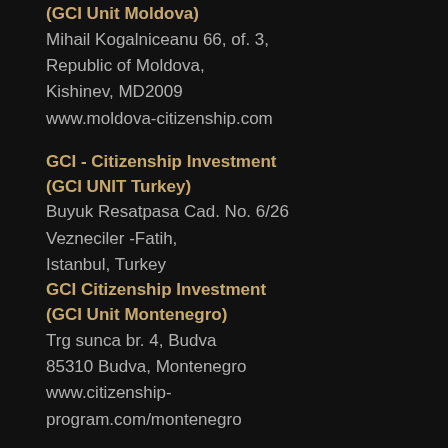(GCI Unit Moldova)
Mihail Kogalniceanu 66, of. 3,
Republic of Moldova,
Kishinev, MD2009
www.moldova-citizenship.com
GCI - Citizenship Investment (GCI UNIT Turkey)
Buyuk Resatpasa Cad. No. 6/26
Vezneciler -Fatih,
Istanbul, Turkey
GCI Citizenship Investment (GCI Unit Montenegro)
Trg sunca br. 4, Budva
85310 Budva, Montenegro
www.citizenship-program.com/montenegro